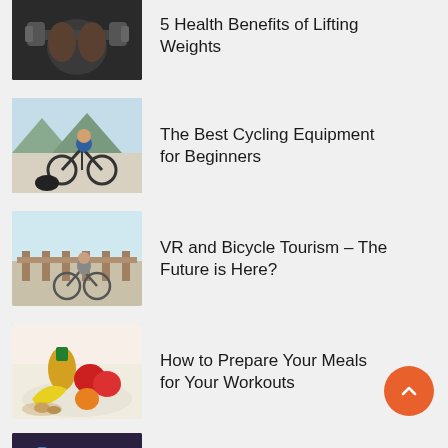5 Health Benefits of Lifting Weights
The Best Cycling Equipment for Beginners
VR and Bicycle Tourism – The Future is Here?
How to Prepare Your Meals for Your Workouts
The Grand Tours – Cycling's Most Prestigious